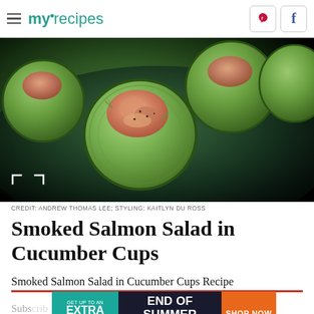myrecipes
[Figure (photo): Close-up of smoked salmon salad served in cucumber cup rounds on a dark teal ceramic plate]
CREDIT: ANDREW THOMAS LEE; STYLING: KAITLYN DU ROSS
Smoked Salmon Salad in Cucumber Cups
Smoked Salmon Salad in Cucumber Cups Recipe
[Figure (infographic): Advertisement banner: GET UP TO AN EXTRA 50% OFF | END OF SUMMER SALE-A-THON | SHOP NOW]